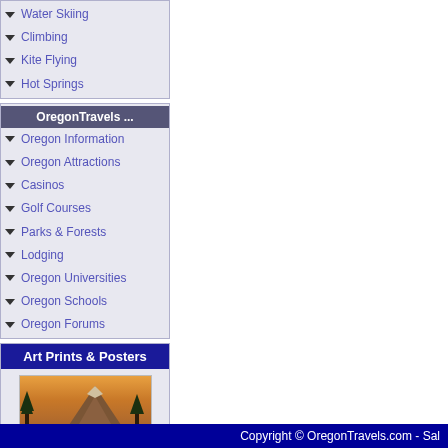Water Skiing
Climbing
Kite Flying
Hot Springs
OregonTravels ...
Oregon Information
Oregon Attractions
Casinos
Golf Courses
Parks & Forests
Lodging
Oregon Universities
Oregon Schools
Oregon Forums
Art Prints & Posters
[Figure (photo): Mountain landscape at sunset with lake reflection and trees, warm orange tones]
Copyright © OregonTravels.com - Sal